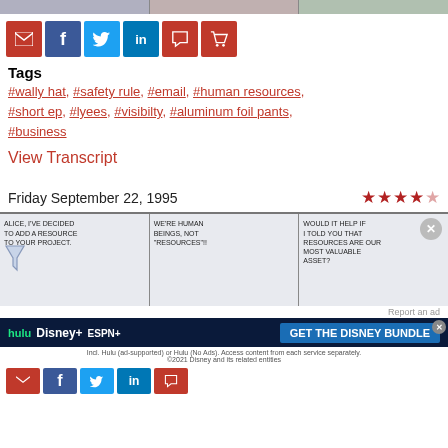[Figure (screenshot): Top strip showing partial comic strip images]
[Figure (infographic): Social sharing buttons: email (red), Facebook (blue), Twitter (light blue), LinkedIn (blue), chat (red), cart (red)]
Tags
#wally hat, #safety rule, #email, #human resources, #short ep, #lyees, #visibilty, #aluminum foil pants, #business
View Transcript
Friday September 22, 1995
[Figure (illustration): Star rating: 4 out of 5 stars (dark red)]
[Figure (illustration): Comic strip panels: Panel 1: ALICE, I'VE DECIDED TO ADD A RESOURCE TO YOUR PROJECT. Panel 2: WE'RE HUMAN BEINGS, NOT 'RESOURCES'!! Panel 3: WOULD IT HELP IF I TOLD YOU THAT RESOURCES ARE OUR MOST VALUABLE ASSET?]
[Figure (screenshot): Advertisement: GET THE DISNEY BUNDLE - hulu, Disney+, ESPN+. Incl. Hulu (ad-supported) or Hulu (No Ads). Access content from each service separately. ©2021 Disney and its related entities]
[Figure (infographic): Bottom partial social sharing buttons row]